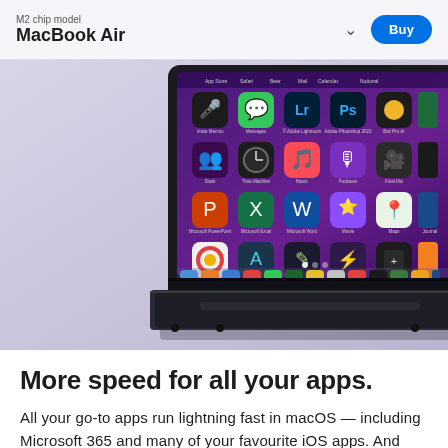M2 chip model
MacBook Air
[Figure (screenshot): MacBook Air laptop with dark Midnight finish displaying macOS app grid on screen, showing apps including Voice Memos, Messages, Adobe Lightroom, Photoshop, Numbers, Slack, Time Machine, Music, Podcasts, Final Cut, GarageBand, Microsoft PowerPoint, Excel, Word, Movie, Maps, Journal, Photos, Affinity Designer, Pixelmator Pro, Shorcuts, Calculator, Books. Dock visible at bottom. macOS desktop background is purple gradient. Bottom portion shows the MacBook hinge and keyboard edge.]
More speed for all your apps.
All your go-to apps run lightning fast in macOS — including Microsoft 365 and many of your favourite iOS apps. And